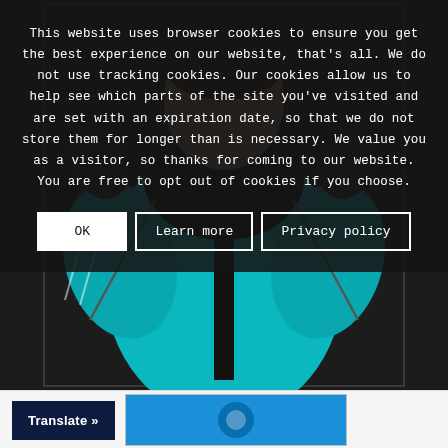This website uses browser cookies to ensure you get the best experience on our website, that's all. We do not use tracking cookies. Our cookies allow us to help see which parts of the site you've visited and are set with an expiration date, so that we do not store them for longer than is necessary. We value you as a visitor, so thanks for coming to our website. You are free to opt out of cookies if you choose.
[Figure (screenshot): Cookie consent dialog with OK, Learn more, and Privacy policy buttons overlaid on a photo of a person wearing a teal/turquoise zip-up jacket]
[Figure (photo): Person wearing a teal/turquoise and black athletic zip-up jacket, hands raised]
Translate »